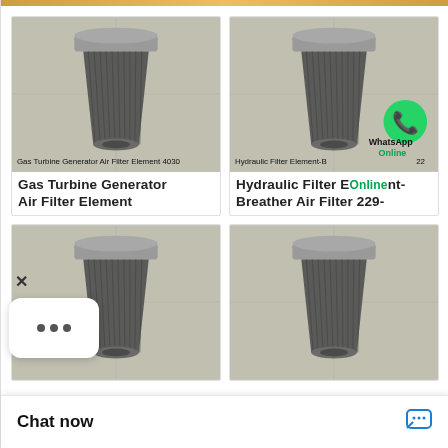[Figure (photo): Gas Turbine Generator Air Filter Element product photo - cylindrical grey metal filter with ribbed body]
Gas Turbine Generator Air Filter Element 4030
Gas Turbine Generator Air Filter Element
[Figure (photo): Hydraulic Filter Element-Breather Air Filter product photo with WhatsApp Online overlay badge]
Hydraulic Filter Element-Breather Air Filter 229-
Hydraulic Filter Element-Breather Air Filter 229-
[Figure (photo): Third filter product photo - cylindrical metal filter element]
[Figure (photo): Fourth filter product photo - cylindrical metal filter element]
Chat now